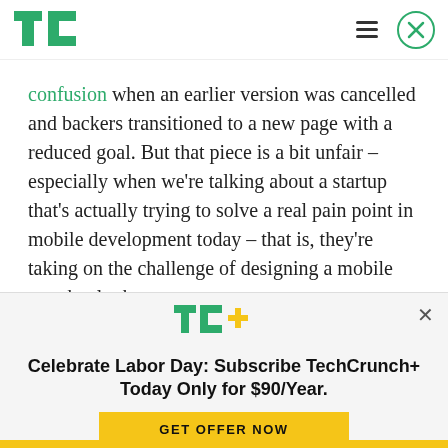TechCrunch header with TC logo, hamburger menu, and close button
confusion when an earlier version was cancelled and backers transitioned to a new page with a reduced goal. But that piece is a bit unfair – especially when we're talking about a startup that's actually trying to solve a real pain point in mobile development today – that is, they're taking on the challenge of designing a mobile app that looks
[Figure (logo): TechCrunch TC+ logo in green and yellow]
Celebrate Labor Day: Subscribe TechCrunch+ Today Only for $90/Year.
GET OFFER NOW